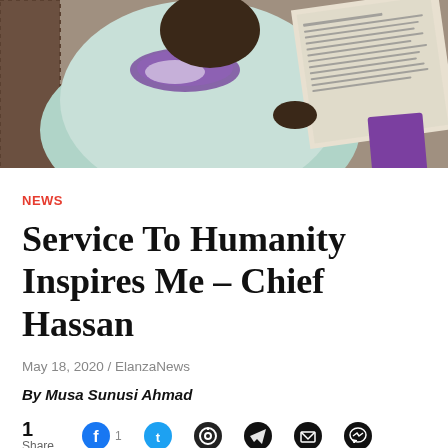[Figure (photo): Person wearing light green/mint robe with purple floral garland, reading a newspaper. Another person partially visible in background.]
NEWS
Service To Humanity Inspires Me – Chief Hassan
May 18, 2020 / ElanzaNews
By Musa Sunusi Ahmad
1 Share [social share icons: Facebook 1, Twitter, WhatsApp, Telegram, Email, Messenger]